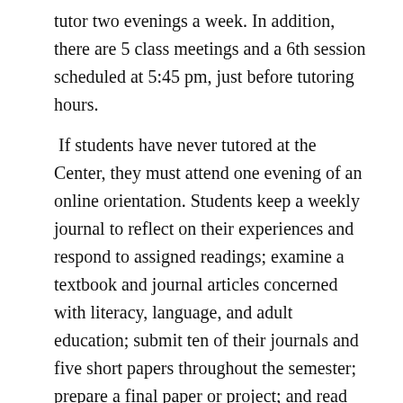tutor two evenings a week. In addition, there are 5 class meetings and a 6th session scheduled at 5:45 pm, just before tutoring hours.
If students have never tutored at the Center, they must attend one evening of an online orientation. Students keep a weekly journal to reflect on their experiences and respond to assigned readings; examine a textbook and journal articles concerned with literacy, language, and adult education; submit ten of their journals and five short papers throughout the semester; prepare a final paper or project; and read and report on one additional text of their choice related to the work of the Center, to adult literacy, to the culture of their learners, or to any topic suggested by their tutoring experience.
Students also submit this year's form for admitted...